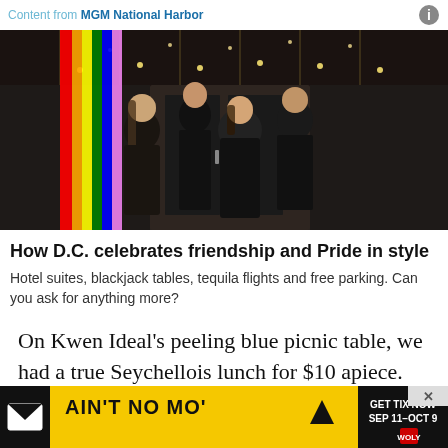Content from MGM National Harbor
[Figure (photo): Four people walking towards the camera in front of a venue entrance with string lights overhead. A rainbow Pride flag stripe is visible on the left edge. People are dressed in stylish dark outfits.]
How D.C. celebrates friendship and Pride in style
Hotel suites, blackjack tables, tequila flights and free parking. Can you ask for anything more?
On Kwen Ideal’s peeling blue picnic table, we had a true Seychellois lunch for $10 apiece. The sharkskin was endlessly, unappetizingly chewy. But other dishes,
[Figure (advertisement): Yellow advertisement banner for 'Ain't No Mo'' show. Black icon with arrow and text 'GET TIX NOW SEP 11-OCT 9'. Close X button in top right corner.]